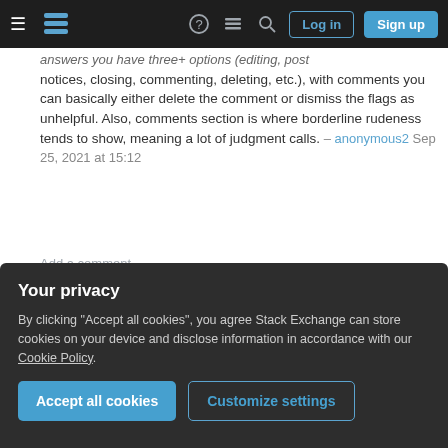Stack Exchange navigation bar with Log in and Sign up buttons
answers you have three+ options (editing, post notices, closing, commenting, deleting, etc.), with comments you can basically either delete the comment or dismiss the flags as unhelpful. Also, comments section is where borderline rudeness tends to show, meaning a lot of judgment calls. – anonymous2 Sep 25, 2021 at 15:12
Add a comment
I don't have a particular example in mind, but any time I notice a moderator action that uses a light touch and effectively applies the Theory of
Your privacy
By clicking "Accept all cookies", you agree Stack Exchange can store cookies on your device and disclose information in accordance with our Cookie Policy.
Accept all cookies  Customize settings
impartiality in your actions